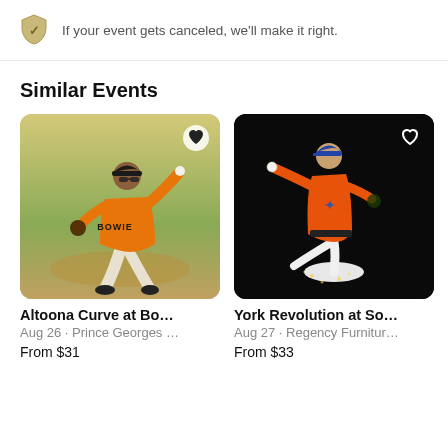If your event gets canceled, we'll make it right.
Similar Events
[Figure (photo): Baseball player in orange Bowie jersey mid-pitch]
Altoona Curve at Bo...
Aug 26 · Prince Georges ...
From $31
[Figure (illustration): Baseball pitcher illustration in orange jersey on black background]
York Revolution at So...
Aug 27 · Regency Furnitur...
From $33
[Figure (photo): Partially visible third event card on black background]
Abe...
Aug
Find